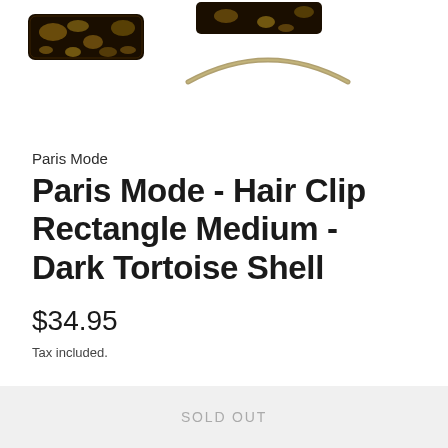[Figure (photo): Product photo showing two views of a tortoise shell hair clip: one view showing the top of the rectangular dark tortoise shell clip, and another showing the clip mechanism open with the metal spring bar visible.]
Paris Mode
Paris Mode - Hair Clip Rectangle Medium - Dark Tortoise Shell
$34.95
Tax included.
SOLD OUT